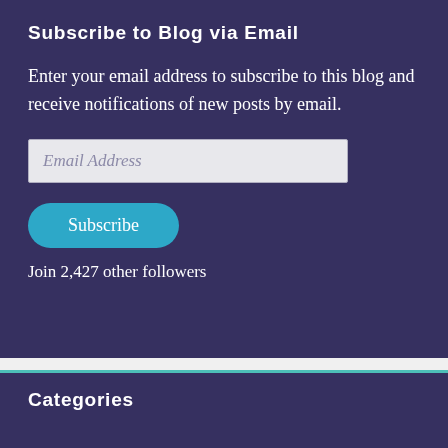Subscribe to Blog via Email
Enter your email address to subscribe to this blog and receive notifications of new posts by email.
[Figure (screenshot): Email address input field with placeholder text 'Email Address']
[Figure (screenshot): Teal rounded Subscribe button]
Join 2,427 other followers
Categories